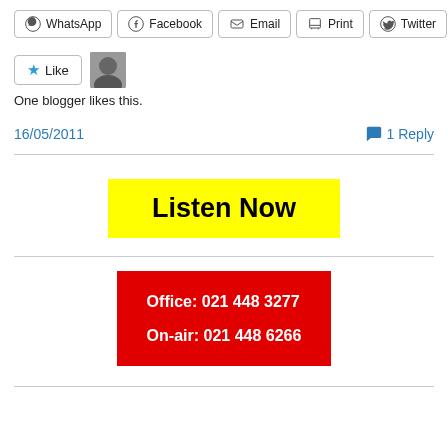[Figure (screenshot): Social share buttons: WhatsApp, Facebook, Email, Print, Twitter]
[Figure (screenshot): Like button with star icon and a user avatar thumbnail]
One blogger likes this.
16/05/2011
1 Reply
[Figure (other): Yellow button with bold black text: Listen Now]
[Figure (other): Red box with white bold text: Office: 021 448 3277 / On-air: 021 448 6266]